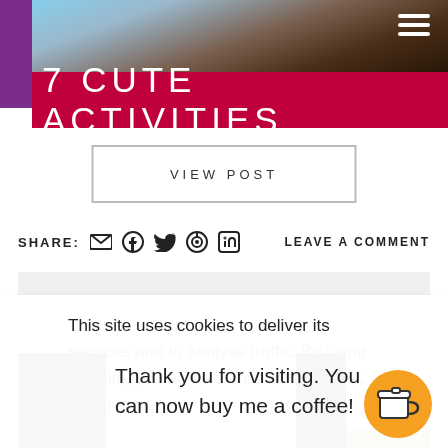[Figure (photo): Cropped photo of people, appearing as a header image with purple overlay and hamburger menu icon]
7 CUTE ACTIVITIES
VIEW POST
SHARE: [email] [facebook] [twitter] [pinterest] [linkedin]   LEAVE A COMMENT
This site uses cookies to deliver its services and to analyse traffic. By using this site, you agree to its use of cookies.  Learn more
Thank you for visiting. You can now buy me a coffee!